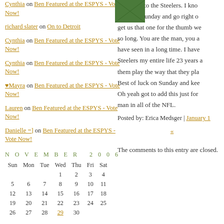Cynthia on Ben Featured at the ESPYS - Vote Now!
richard slater on On to Detroit
Cynthia on Ben Featured at the ESPYS - Vote Now!
Cynthia on Ben Featured at the ESPYS - Vote Now!
♥Mayra on Ben Featured at the ESPYS - Vote Now!
Lauren on Ben Featured at the ESPYS - Vote Now!
Danielle =] on Ben Featured at the ESPYS - Vote Now!
[Figure (photo): Small green thumbnail image]
happened to the Steelers. I kno Colts on Sunday and go right o get us that one for the thumb we so long. You are the man, you a have seen in a long time. I have Steelers my entire life 23 years a them play the way that they pla Best of luck on Sunday and kee Oh yeah got to add this just for man in all of the NFL.
Posted by: Erica Medsger | January 1
«
N O V E M B E R   2 0 0 6
| Sun | Mon | Tue | Wed | Thu | Fri | Sat |
| --- | --- | --- | --- | --- | --- | --- |
|  |  |  | 1 | 2 | 3 | 4 |
| 5 | 6 | 7 | 8 | 9 | 10 | 11 |
| 12 | 13 | 14 | 15 | 16 | 17 | 18 |
| 19 | 20 | 21 | 22 | 23 | 24 | 25 |
| 26 | 27 | 28 | 29 | 30 |  |  |
P H O T O   A L B U M S
The comments to this entry are closed.